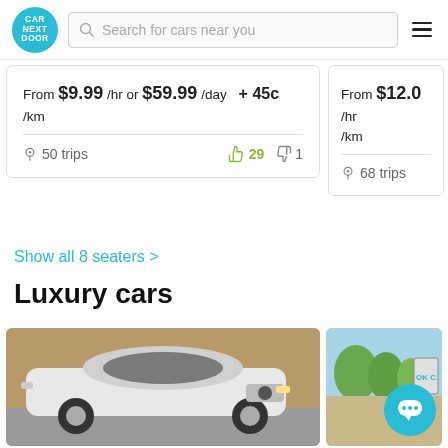CAR NEXT DOOR — Search for cars near you
From $9.99/hr or $59.99/day + 45c/km
50 trips  👍29  👎1
From $12.0/hr /km
68 trips
Show all 8 seaters >
Luxury cars
[Figure (photo): White sedan car parked in front of a brick building]
[Figure (photo): Outdoor scene with trees and a teal chat bubble icon overlay]